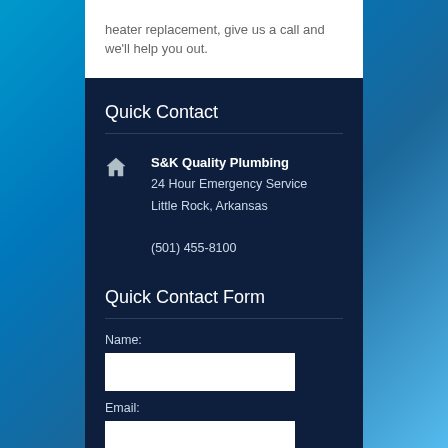heater replacement, give us a call and we'll help you out.
Quick Contact
S&K Quality Plumbing
24 Hour Emergency Service
Little Rock, Arkansas

(501) 455-8100
Quick Contact Form
Name:
Email: